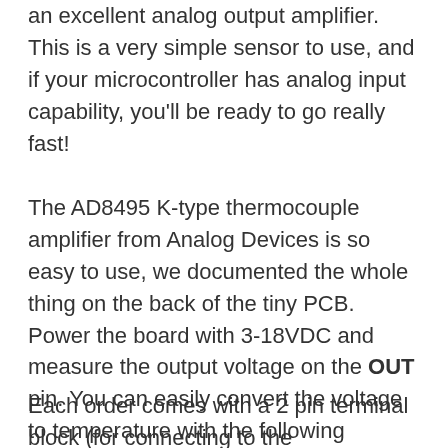an excellent analog output amplifier. This is a very simple sensor to use, and if your microcontroller has analog input capability, you'll be ready to go really fast!
The AD8495 K-type thermocouple amplifier from Analog Devices is so easy to use, we documented the whole thing on the back of the tiny PCB. Power the board with 3-18VDC and measure the output voltage on the OUT pin. You can easily convert the voltage to temperature with the following equation: Temperature = (Vout - 1.25) / 0.005 V. So for example, if the voltage is 1.5VDC, the temperature is (1.5 - 1.25) / 0.005 = 50°C
Each order comes with a 2 pin terminal block (for connecting to the thermocouple), a fully assembled PCB with the AD8495